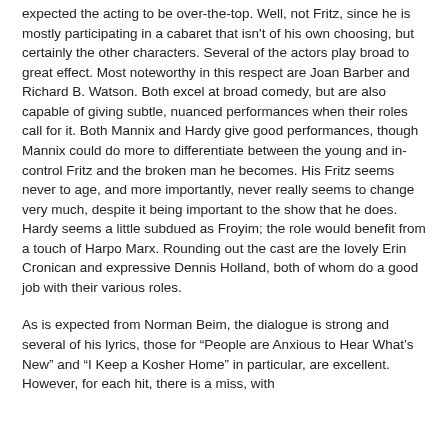expected the acting to be over-the-top. Well, not Fritz, since he is mostly participating in a cabaret that isn't of his own choosing, but certainly the other characters. Several of the actors play broad to great effect. Most noteworthy in this respect are Joan Barber and Richard B. Watson. Both excel at broad comedy, but are also capable of giving subtle, nuanced performances when their roles call for it. Both Mannix and Hardy give good performances, though Mannix could do more to differentiate between the young and in-control Fritz and the broken man he becomes. His Fritz seems never to age, and more importantly, never really seems to change very much, despite it being important to the show that he does. Hardy seems a little subdued as Froyim; the role would benefit from a touch of Harpo Marx. Rounding out the cast are the lovely Erin Cronican and expressive Dennis Holland, both of whom do a good job with their various roles.
As is expected from Norman Beim, the dialogue is strong and several of his lyrics, those for “People are Anxious to Hear What’s New” and “I Keep a Kosher Home” in particular, are excellent. However, for each hit, there is a miss, with